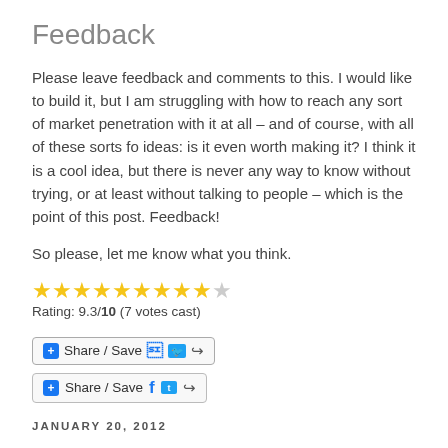Feedback
Please leave feedback and comments to this. I would like to build it, but I am struggling with how to reach any sort of market penetration with it at all – and of course, with all of these sorts fo ideas: is it even worth making it? I think it is a cool idea, but there is never any way to know without trying, or at least without talking to people – which is the point of this post. Feedback!
So please, let me know what you think.
[Figure (other): Star rating widget showing 9 filled gold stars and 1 partially filled star out of 10, with text: Rating: 9.3/10 (7 votes cast)]
[Figure (other): Share / Save button with Facebook, Twitter and share icons]
JANUARY 20, 2012